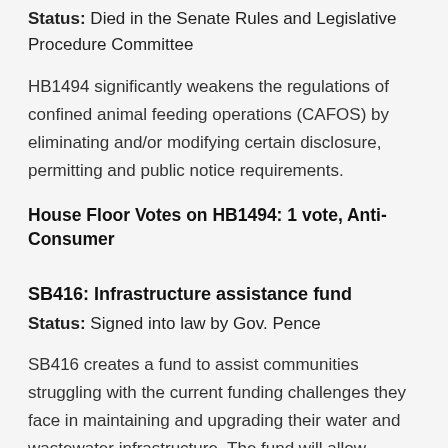Status: Died in the Senate Rules and Legislative Procedure Committee
HB1494 significantly weakens the regulations of confined animal feeding operations (CAFOS) by eliminating and/or modifying certain disclosure, permitting and public notice requirements.
House Floor Votes on HB1494: 1 vote, Anti-Consumer
SB416: Infrastructure assistance fund
Status: Signed into law by Gov. Pence
SB416 creates a fund to assist communities struggling with the current funding challenges they face in maintaining and upgrading their water and wastewater infrastructure. The fund will allow communities and local utilities to seek grants, loans, and other financial assistance in an attempt to mitigate rate increases on consumers and reduce the financial burden on water utilities and